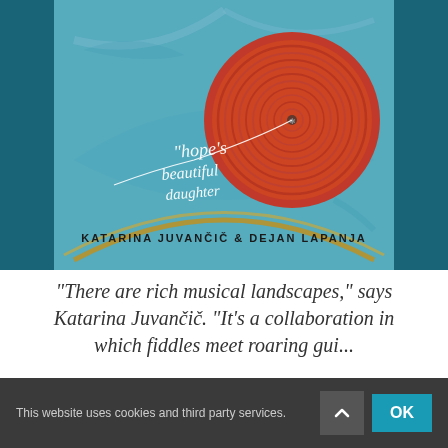[Figure (illustration): Album cover art for 'Hope's Beautiful Daughter' by Katarina Juvančič & Dejan Lapanja. Features a stylized eye motif with a large red-orange spiral circle on a teal/blue painted background with sweeping curves. White cursive script reads 'hope's beautiful daughter' and black printed text reads 'KATARINA JUVANČIČ & DEJAN LAPANJA'.]
"There are rich musical landscapes," says Katarina Juvančič. "It's a collaboration in which fiddles meet roaring gui...
This website uses cookies and third party services.